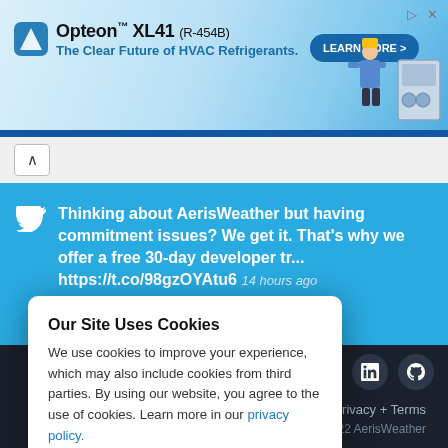[Figure (illustration): Opteon XL41 (R-454B) advertisement banner with blue gradient background, brand logo, tagline 'The Clear Future of HVAC Refrigerants.', LEARN MORE button, and HVAC technician illustration]
Thinking about AerisWeather but having commitment issues? We get it. That's why we offer a free 30-day developer tr... https://t.co/98gzOYAtu6   14 hours ago
Our Site Uses Cookies
We use cookies to improve your experience, which may also include cookies from third parties. By using our website, you agree to the use of cookies. Learn more in our privacy policy.
ACCEPT & CLOSE
Privacy + Terms
© 2022 AerisWeather